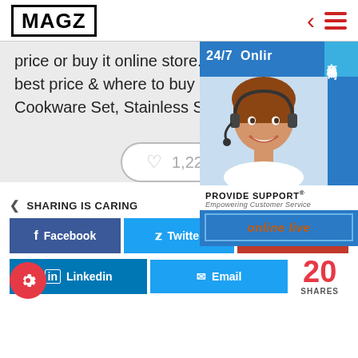[Figure (logo): MAGZ logo in bold black text inside a rectangular border, with red chevron and hamburger menu icons on the right]
price or buy it online store. We think you find best price & where to buy Mains... Cookware Set, Stainless Steel.sp...
[Figure (other): Like button with heart icon showing 1,220 likes]
[Figure (photo): 24/7 Online support advertisement with a woman wearing a headset, PROVIDE SUPPORT Empowering Customer Service, online live button, and Chinese characters overlay]
SHARING IS CARING
[Figure (infographic): Social sharing buttons: Facebook (blue), Twitter (light blue), Google+ (red), Linkedin (dark blue), Email (light blue), showing 20 SHARES count and a red gear settings button]